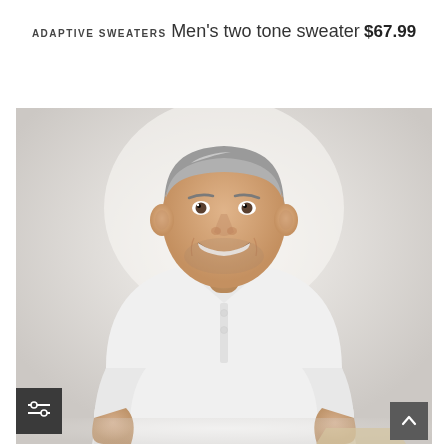ADAPTIVE SWEATERS
Men's two tone sweater
$67.99
[Figure (photo): Middle-aged man with gray hair smiling broadly, wearing a white short-sleeve henley shirt, seated against a light gray/white background.]